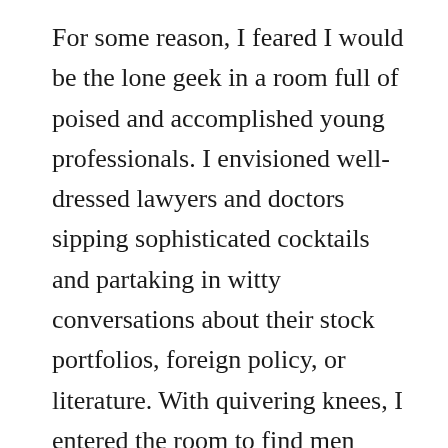For some reason, I feared I would be the lone geek in a room full of poised and accomplished young professionals. I envisioned well-dressed lawyers and doctors sipping sophisticated cocktails and partaking in witty conversations about their stock portfolios, foreign policy, or literature. With quivering knees, I entered the room to find men segregated on one side and women on the other. Good Lord, it was eighth grade with pink girlie drinks for the women and beer for the men!
The men were clumped into small groups pretending to be in deep conversation, while